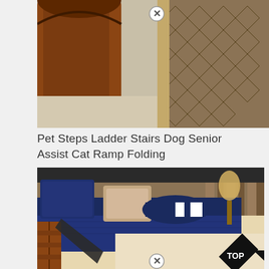[Figure (photo): Top portion of a wooden sleigh bed frame on carpet with a patterned rug visible on the right side. A close (X) button is overlaid near the top center.]
Pet Steps Ladder Stairs Dog Senior Assist Cat Ramp Folding
[Figure (photo): A bed with navy blue quilted bedspread and decorative pillows including a bolster pillow. A wooden pet ramp/ladder is leaning against the side of the bed. A lamp and curtains visible in background. A 'TOP' badge in bottom right corner and a close (X) button at the bottom center.]